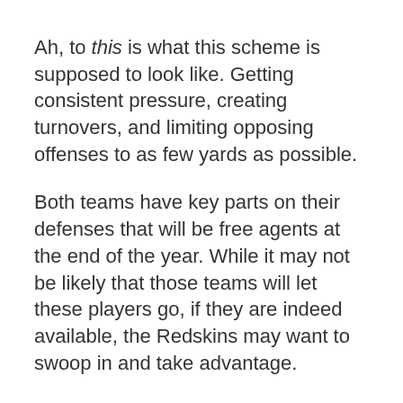Ah, to this is what this scheme is supposed to look like. Getting consistent pressure, creating turnovers, and limiting opposing offenses to as few yards as possible.
Both teams have key parts on their defenses that will be free agents at the end of the year. While it may not be likely that those teams will let these players go, if they are indeed available, the Redskins may want to swoop in and take advantage.
The key defensive free agent this year on the Ravens is Haloti Ngata. The guy is just a stud. Gets good pressure on the quarterback, can space eat with the best of them, and can get in the backfield to tackle ball